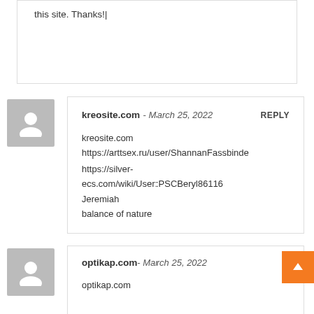this site. Thanks!|
kreosite.com - March 25, 2022  REPLY
kreosite.com
https://arttsex.ru/user/ShannanFassbinde
https://silver-ecs.com/wiki/User:PSCBeryl86116
Jeremiah
balance of nature
optikap.com - March 25, 2022
optikap.com